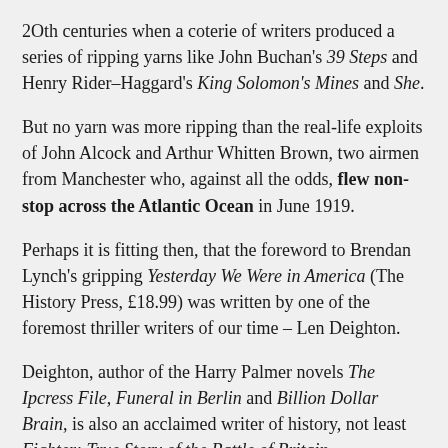20th centuries when a coterie of writers produced a series of ripping yarns like John Buchan's 39 Steps and Henry Rider-Haggard's King Solomon's Mines and She.
But no yarn was more ripping than the real-life exploits of John Alcock and Arthur Whitten Brown, two airmen from Manchester who, against all the odds, flew non-stop across the Atlantic Ocean in June 1919.
Perhaps it is fitting then, that the foreword to Brendan Lynch's gripping Yesterday We Were in America (The History Press, £18.99) was written by one of the foremost thriller writers of our time – Len Deighton.
Deighton, author of the Harry Palmer novels The Ipcress File, Funeral in Berlin and Billion Dollar Brain, is also an acclaimed writer of history, not least Fighter: True Story of the Battle of Britain.
In his foreword he observes that the story of Alcock and Brown's historic flight – a mere 16 years after the